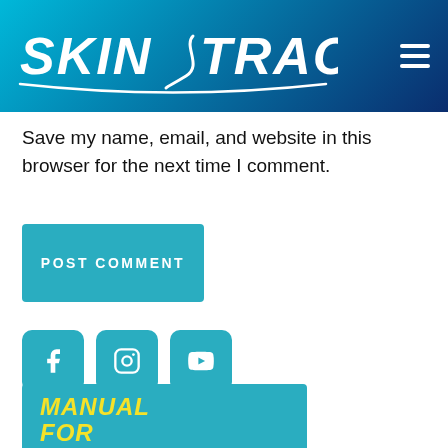SKIN TRACK
Save my name, email, and website in this browser for the next time I comment.
POST COMMENT
[Figure (infographic): Social media icons: Facebook, Instagram, YouTube — teal rounded square buttons]
MANUAL FOR